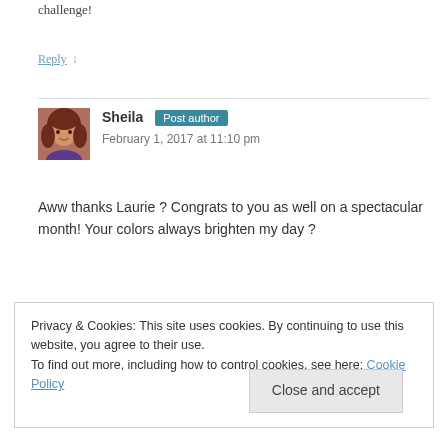challenge!
Reply ↓
Sheila  Post author
February 1, 2017 at 11:10 pm
Aww thanks Laurie ? Congrats to you as well on a spectacular month! Your colors always brighten my day ?
Privacy & Cookies: This site uses cookies. By continuing to use this website, you agree to their use.
To find out more, including how to control cookies, see here: Cookie Policy
Close and accept